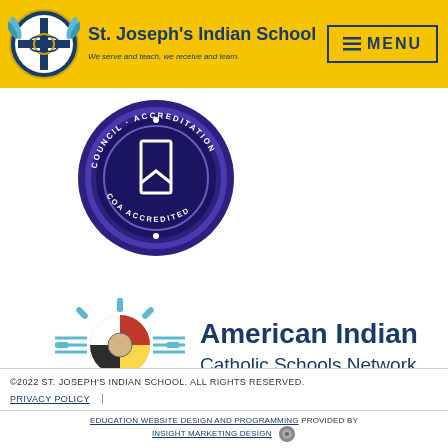[Figure (logo): St. Joseph's Indian School header with school crest logo, school name, tagline, and MENU button on yellow background]
[Figure (logo): COA Accredited circular seal/badge in purple and dark blue]
[Figure (logo): American Indian Catholic Schools Network logo with Zia sun symbol]
©2022 ST. JOSEPH'S INDIAN SCHOOL. ALL RIGHTS RESERVED.
PRIVACY POLICY
EDUCATION WEBSITE DESIGN AND PROGRAMMING PROVIDED BY INSIGHT MARKETING DESIGN